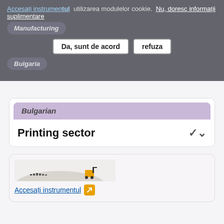Accesați instrumentul utilizarea modulelor cookie. Nu, doresc informații suplimentare
Da, sunt de acord | refuza
Manufacturing
Bulgaria
Bulgarian
Printing sector
[Figure (screenshot): Partial screenshot of an industrial/landscape tool interface showing low-lying structures and a forklift-like machine icon]
Accesați instrumentul